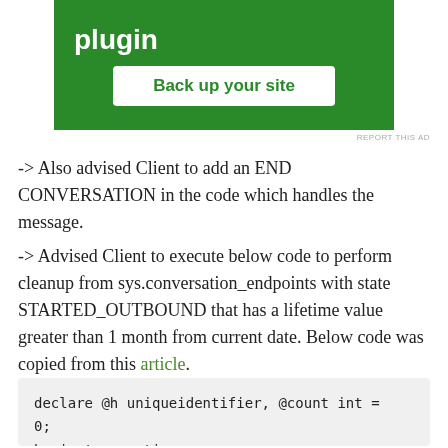[Figure (other): Green advertisement banner with bold white text 'plugin' and a white button labeled 'Back up your site']
REPORT THIS AD
-> Also advised Client to add an END CONVERSATION in the code which handles the message.
-> Advised Client to execute below code to perform cleanup from sys.conversation_endpoints with state STARTED_OUTBOUND that has a lifetime value greater than 1 month from current date. Below code was copied from this article.
declare @h uniqueidentifier, @count int = 0;
begin transaction;